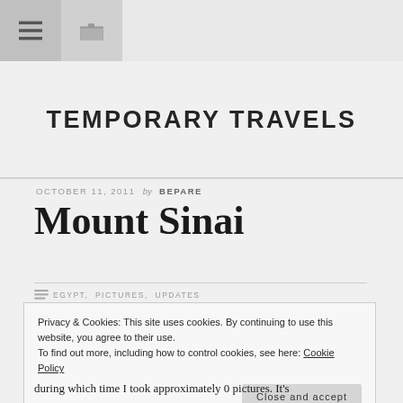TEMPORARY TRAVELS
OCTOBER 11, 2011 by BEPARE
Mount Sinai
EGYPT, PICTURES, UPDATES
Privacy & Cookies: This site uses cookies. By continuing to use this website, you agree to their use. To find out more, including how to control cookies, see here: Cookie Policy
Close and accept
during which time I took approximately 0 pictures. It's